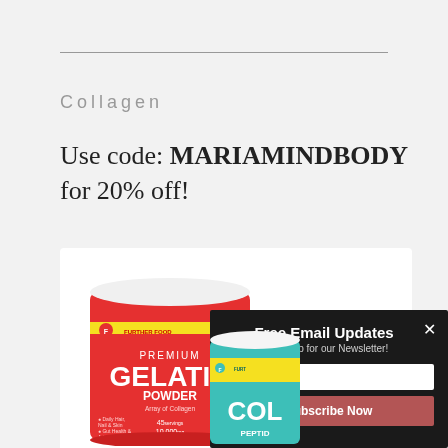Collagen
Use code: MARIAMINDBODY for 20% off!
[Figure (photo): Two Further Food supplement containers: a large red Premium Gelatin Powder tub and a smaller teal Collagen Peptide container, partially obscured by a popup overlay]
[Figure (screenshot): Email signup popup with dark background reading 'Free Email Updates', 'Sign up for our Newsletter!', an email input field labeled 'Your Email', and a 'Subscribe Now' button in dark red. An X close button is in the top right.]